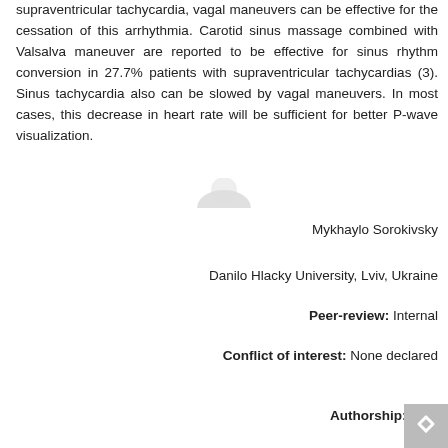supraventricular tachycardia, vagal maneuvers can be effective for the cessation of this arrhythmia. Carotid sinus massage combined with Valsalva maneuver are reported to be effective for sinus rhythm conversion in 27.7% patients with supraventricular tachycardias (3). Sinus tachycardia also can be slowed by vagal maneuvers. In most cases, this decrease in heart rate will be sufficient for better P-wave visualization.
[Figure (other): Partial avatar/profile image partially visible]
Mykhaylo Sorokivsky
Danilo Hlacky University, Lviv, Ukraine
Peer-review: Internal
Conflict of interest: None declared
Authorship: M.S.